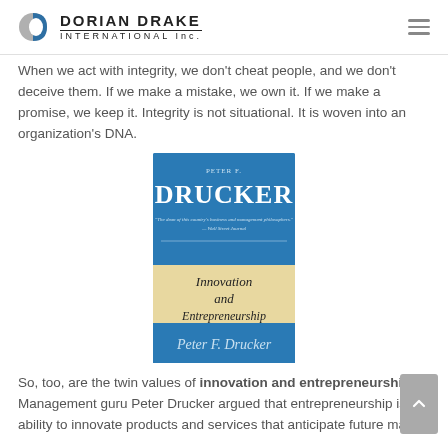DORIAN DRAKE INTERNATIONAL Inc.
When we act with integrity, we don't cheat people, and we don't deceive them. If we make a mistake, we own it. If we make a promise, we keep it. Integrity is not situational. It is woven into an organization's DNA.
[Figure (photo): Book cover of 'Innovation and Entrepreneurship' by Peter F. Drucker, with teal blue top and bottom sections and a cream/light yellow center section displaying the title in dark serif font, with a signature at the bottom.]
So, too, are the twin values of innovation and entrepreneurship. Management guru Peter Drucker argued that entrepreneurship is the ability to innovate products and services that anticipate future market